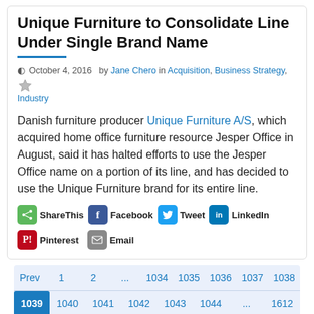Unique Furniture to Consolidate Line Under Single Brand Name
October 4, 2016  by Jane Chero in Acquisition, Business Strategy, Industry
Danish furniture producer Unique Furniture A/S, which acquired home office furniture resource Jesper Office in August, said it has halted efforts to use the Jesper Office name on a portion of its line, and has decided to use the Unique Furniture brand for its entire line.
ShareThis  Facebook  Tweet  LinkedIn  Pinterest  Email
Prev  1  2  ...  1034  1035  1036  1037  1038  1039  1040  1041  1042  1043  1044  ...  1612  1613  Next
advertisement